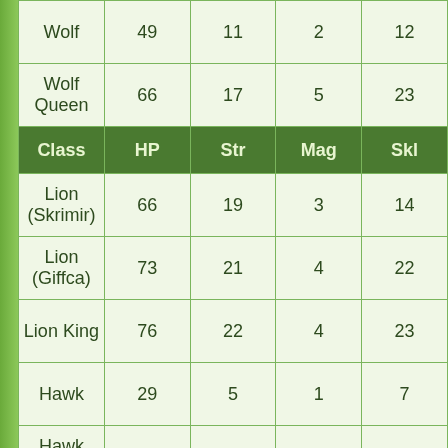| Class | HP | Str | Mag | Skl |
| --- | --- | --- | --- | --- |
| Wolf | 49 | 11 | 2 | 12 |
| Wolf Queen | 66 | 17 | 5 | 23 |
| Lion (Skrimir) | 66 | 19 | 3 | 14 |
| Lion (Giffca) | 73 | 21 | 4 | 22 |
| Lion King | 76 | 22 | 4 | 23 |
| Hawk | 29 | 5 | 1 | 7 |
| Hawk King | 68 | 18 | 2 | 24 |
| Raven (M) | 27 | 4 | 2 | 6 |